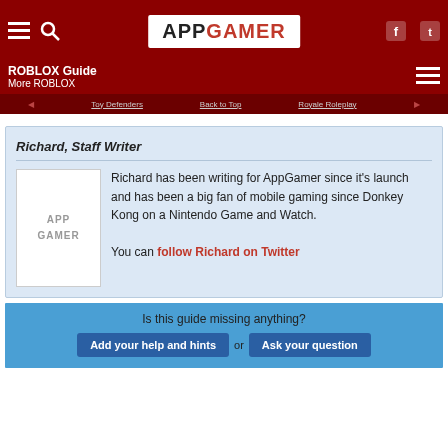APPGAMER
ROBLOX Guide
More ROBLOX
Toy Defenders  Back to Top  Royale Roleplay
Richard, Staff Writer
Richard has been writing for AppGamer since it's launch and has been a big fan of mobile gaming since Donkey Kong on a Nintendo Game and Watch.

You can follow Richard on Twitter
Is this guide missing anything?
Add your help and hints or Ask your question